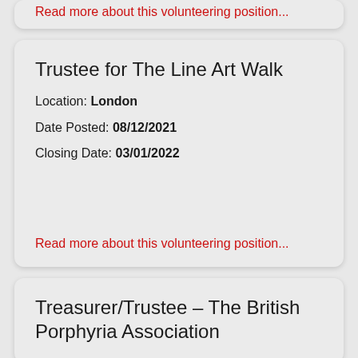Read more about this volunteering position...
Trustee for The Line Art Walk
Location: London
Date Posted: 08/12/2021
Closing Date: 03/01/2022
Read more about this volunteering position...
Treasurer/Trustee – The British Porphyria Association